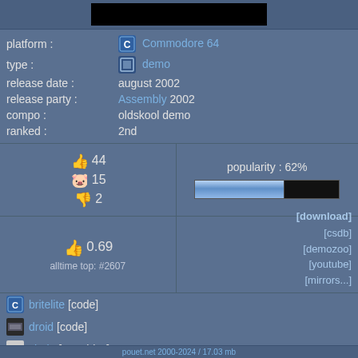[Figure (other): Top banner with black rectangle (video/screenshot placeholder)]
platform : Commodore 64
type : demo
release date : august 2002
release party : Assembly 2002
compo : oldskool demo
ranked : 2nd
thumbs up 44  pig 15  thumbs down 2
popularity : 62%
thumbs up 0.69  alltime top: #2607
[download] [csdb] [demozoo] [youtube] [mirrors...]
britelite [code]
droid [code]
xhale [Graphics]
Visualice [Graphics]
Cyclone [Graphics]
pouet.net 2000-2024 / 17.03 mb